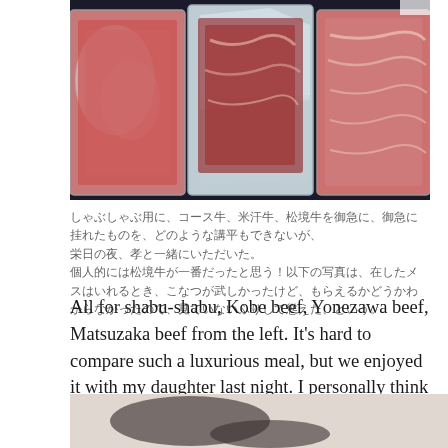[Figure (photo): Vacuum-sealed packages of premium Japanese beef (Kobe, Yonezawa, Matsuzaka) displayed in plastic wrap packaging on a dark surface]
（Japanese text: multiple lines of Japanese characters describing the beef and meal)
All for shabu-shabu, Kobe beef, Yonezawa beef, Matsuzaka beef from the left. It's hard to compare such a luxurious meal, but we enjoyed it with my daughter last night. I personally think Matsusaka beef was the best! The photo below, when my wife was preparing it, Konatsu wanted it, but Konatsu didn't know if she could get it, so she pretended not to see it and put up with it.
[Figure (photo): Bottom portion of a photo showing a cat or person near food preparation area]